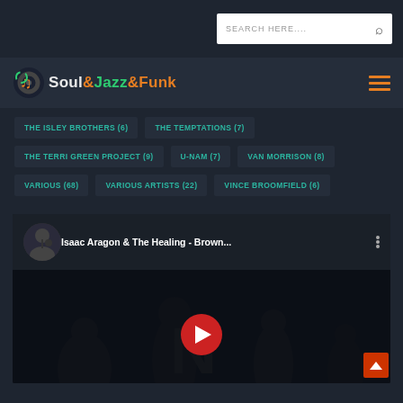SEARCH HERE....
Soul&Jazz&Funk
THE ISLEY BROTHERS (6)
THE TEMPTATIONS (7)
THE TERRI GREEN PROJECT (9)
U-NAM (7)
VAN MORRISON (8)
VARIOUS (68)
VARIOUS ARTISTS (22)
VINCE BROOMFIELD (6)
[Figure (screenshot): YouTube video embed showing Isaac Aragon & The Healing - Brown... with play button and artist thumbnail]